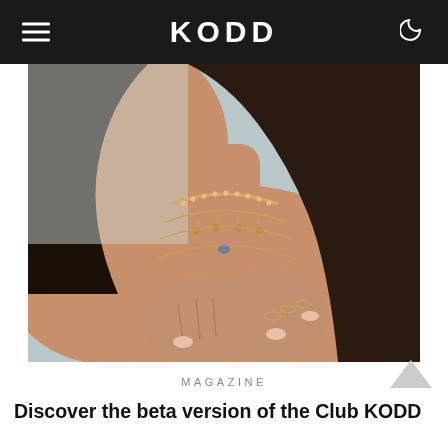KODD
[Figure (photo): Close-up photo of a woman wearing multiple layered delicate gold necklaces, with rings on her fingers, hands crossed on her chest. Shot from chin down, warm skin tone, light blue-grey background.]
MAGAZINE
Discover the beta version of the Club KODD